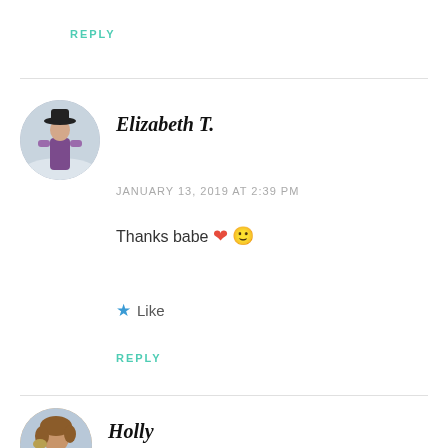REPLY
[Figure (photo): Circular avatar photo of Elizabeth T., woman in purple dress and black hat outdoors in a snowy/misty setting]
Elizabeth T.
JANUARY 13, 2019 AT 2:39 PM
Thanks babe ❤ 🙂
★ Like
REPLY
[Figure (photo): Circular avatar photo of Holly, woman with curly hair wearing a yellow/olive blazer and white shirt]
Holly